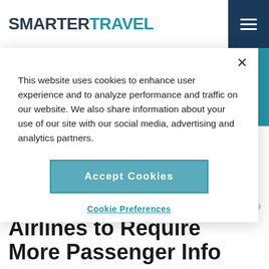SMARTERTRAVEL
This website uses cookies to enhance user experience and to analyze performance and traffic on our website. We also share information about your use of our site with our social media, advertising and analytics partners.
Accept Cookies
Cookie Preferences
AIRFARE DEALS
Aug 24, 2009
Airlines to Require More Passenger Info